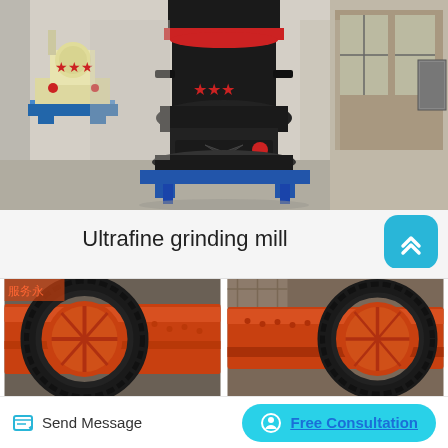[Figure (photo): Industrial ultrafine grinding mill machines in a factory setting. A large black and red grinding mill is in the center foreground on a blue base, with a yellow/cream colored mill visible on the left, and industrial shelving/equipment on the right. The machines have red star decorative elements.]
Ultrafine grinding mill
[Figure (photo): Close-up of an orange ball mill showing large gear/ring drive mechanism with gear teeth visible, industrial grinding equipment.]
[Figure (photo): Close-up of another orange ball mill cylinder with large ring gear, industrial grinding equipment in a factory setting.]
Send Message
Free Consultation